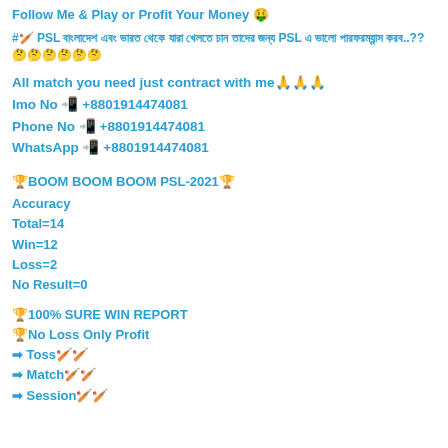Follow Me & Play or Profit Your Money 🤑
#🏏 PSL বাংলাদেশ এবং ভারত থেকে যারা খেলতে চান তাদের জন্য PSL এ ভালো পারফরম্যান্স করব..??🤔🤔🤔🤔🤔🤔
All match you need just contract with me🙏🙏🙏
Imo No 📲 +8801914474081
Phone No 📲 +8801914474081
WhatsApp 📲 +8801914474081
🏆BOOM BOOM BOOM PSL-2021🏆
Accuracy
Total=14
Win=12
Loss=2
No Result=0
🏆100% SURE WIN REPORT
🏆No Loss Only Profit
➡ Toss🏏🏏
➡ Match🏏🏏
➡ Session🏏🏏